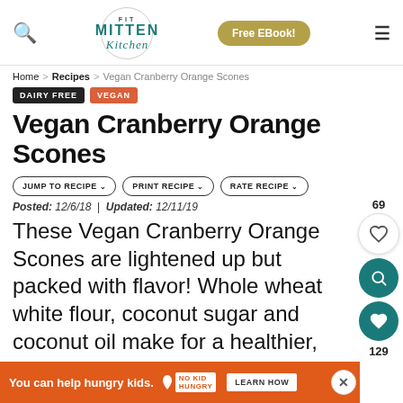FIT MITTEN Kitchen — navigation header with search, Free EBook! button, and hamburger menu
Home > Recipes > Vegan Cranberry Orange Scones
DAIRY FREE  VEGAN
Vegan Cranberry Orange Scones
JUMP TO RECIPE  PRINT RECIPE  RATE RECIPE
Posted: 12/6/18  |  Updated: 12/11/19
These Vegan Cranberry Orange Scones are lightened up but packed with flavor! Whole wheat white flour, coconut sugar and coconut oil make for a healthier, dairy-free breakfast treat.